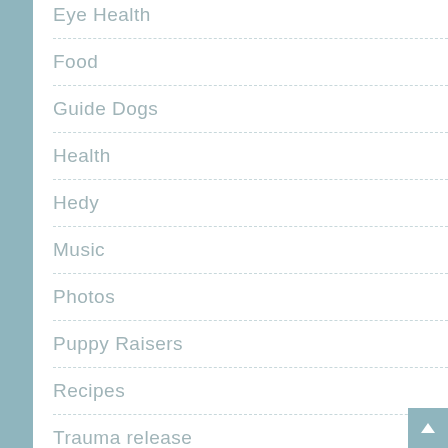Eye Health
Food
Guide Dogs
Health
Hedy
Music
Photos
Puppy Raisers
Recipes
Trauma release
Updates